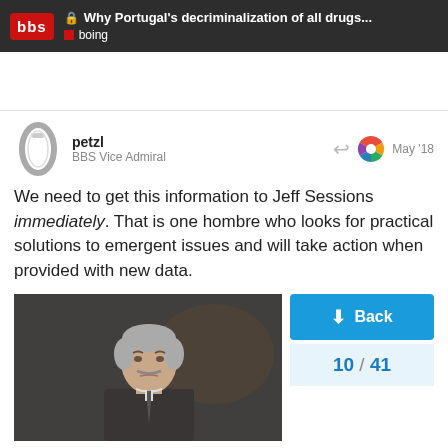Why Portugal's decriminalization of all drugs... | boing
We need to get this information to Jeff Sessions immediately. That is one hombre who looks for practical solutions to emergent issues and will take action when provided with new data.
[Figure (photo): Photo of a man with gray hair and a mustache looking skeptical or concerned, appears to be a still from a film or TV show]
Back
10 / 41